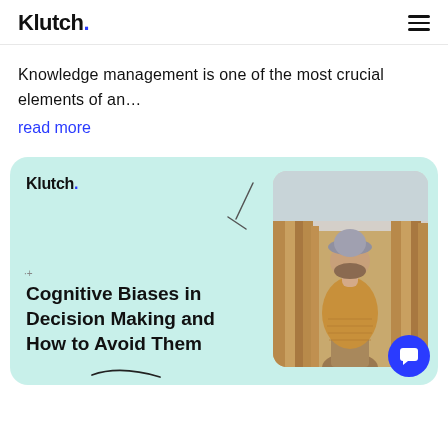Klutch.
Knowledge management is one of the most crucial elements of an...
read more
[Figure (screenshot): Klutch branded card with light teal background showing article title 'Cognitive Biases in Decision Making and How to Avoid Them' with a photo of a person from behind walking through a corn field wearing a grey hat and mustard sweater]
Cognitive Biases in Decision Making and How to Avoid Them